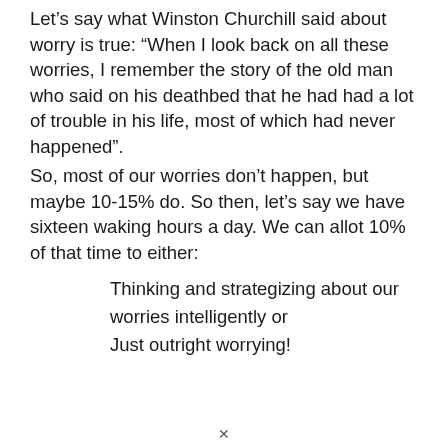Let's say what Winston Churchill said about worry is true: “When I look back on all these worries, I remember the story of the old man who said on his deathbed that he had had a lot of trouble in his life, most of which had never happened”.
So, most of our worries don’t happen, but maybe 10-15% do. So then, let’s say we have sixteen waking hours a day. We can allot 10% of that time to either:
Thinking and strategizing about our worries intelligently or
Just outright worrying!
✕